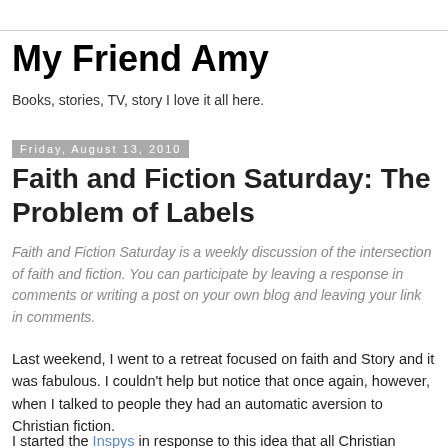My Friend Amy
Books, stories, TV, story I love it all here.
Friday, August 13, 2010
Faith and Fiction Saturday: The Problem of Labels
Faith and Fiction Saturday is a weekly discussion of the intersection of faith and fiction. You can participate by leaving a response in comments or writing a post on your own blog and leaving your link in comments.
Last weekend, I went to a retreat focused on faith and Story and it was fabulous. I couldn't help but notice that once again, however, when I talked to people they had an automatic aversion to Christian fiction.
I started the Inspys in response to this idea that all Christian